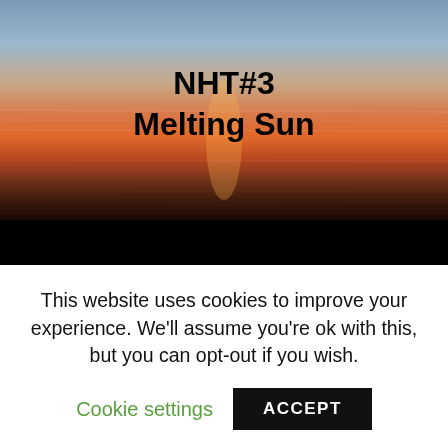[Figure (photo): Hero image of a sunset over water with text overlay reading 'NHT#3 Melting Sun']
NHT#3 … Melting Sun...
[Figure (screenshot): Audio player widget showing album art thumbnail, play button, and error message: 'Sorry - your browser is not supported. Please update your browser or install another su']
Another ramble through the hills and dales of the musical landscape of Spotify with tracks by Pozi, Gaudi, Mad Professo Tinariwen, Kurt Vile, Matt Sweeney, Electric Polar Bears, Fun-D
This website uses cookies to improve your experience. We'll assume you're ok with this, but you can opt-out if you wish.
Cookie settings
ACCEPT